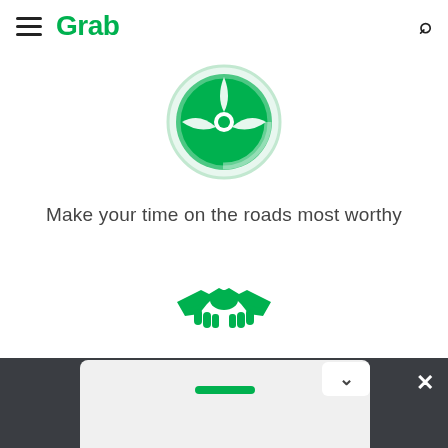Grab
[Figure (logo): Grab steering wheel icon in green circle]
Make your time on the roads most worthy
[Figure (illustration): Green handshake icon]
Meet new people, new connection